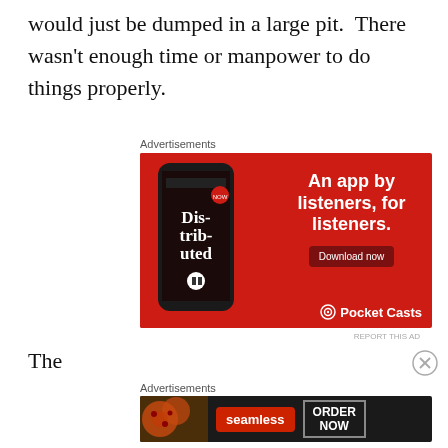would just be dumped in a large pit.  There wasn't enough time or manpower to do things properly.
Advertisements
[Figure (photo): Pocket Casts advertisement: red background with smartphone showing 'Dis-trib-uted' podcast app. Text: 'An app by listeners, for listeners.' with 'Download now' button and Pocket Casts logo.]
REPORT THIS AD
The
Advertisements
[Figure (photo): Seamless advertisement: dark background with pizza image, Seamless logo in red, and 'ORDER NOW' button with border.]